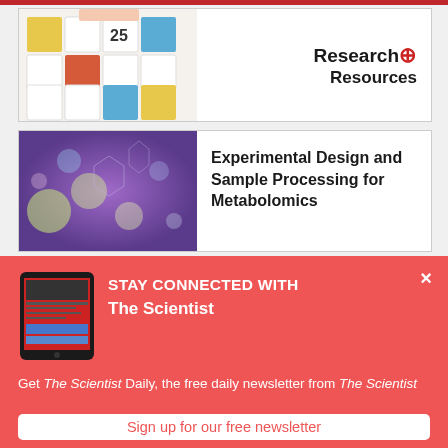[Figure (screenshot): Website screenshot showing research content cards and a newsletter signup modal overlay. Card 1 shows a crossword/puzzle image with colorful tiles and 'Research+ Resources' logo. Card 2 shows a purple/blue bokeh background image with title 'Experimental Design and Sample Processing for Metabolomics'. Overlaid modal has tablet device image, headline 'STAY CONNECTED WITH The Scientist', body text about free daily newsletter, and a sign-up button.]
Research+ Resources
Experimental Design and Sample Processing for Metabolomics
STAY CONNECTED WITH The Scientist
Get The Scientist Daily, the free daily newsletter from The Scientist
Sign up for our free newsletter